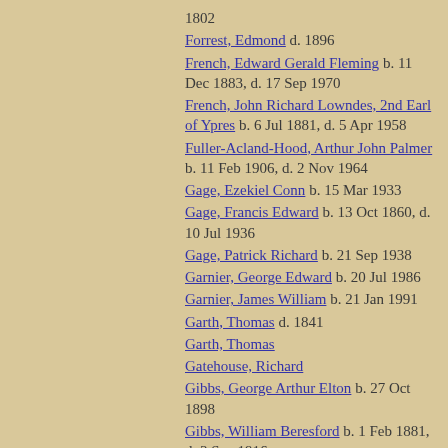1802
Forrest, Edmond  d. 1896
French, Edward Gerald Fleming  b. 11 Dec 1883, d. 17 Sep 1970
French, John Richard Lowndes, 2nd Earl of Ypres  b. 6 Jul 1881, d. 5 Apr 1958
Fuller-Acland-Hood, Arthur John Palmer  b. 11 Feb 1906, d. 2 Nov 1964
Gage, Ezekiel Conn  b. 15 Mar 1933
Gage, Francis Edward  b. 13 Oct 1860, d. 10 Jul 1936
Gage, Patrick Richard  b. 21 Sep 1938
Garnier, George Edward  b. 20 Jul 1986
Garnier, James William  b. 21 Jan 1991
Garth, Thomas  d. 1841
Garth, Thomas
Gatehouse, Richard
Gibbs, George Arthur Elton  b. 27 Oct 1898
Gibbs, William Beresford  b. 1 Feb 1881, d. 3 Sep 1916
Gibson, Edward Graves Mayne  b. 28